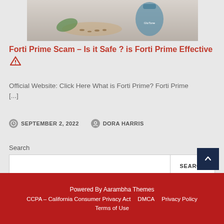[Figure (photo): Product image showing a supplement bottle with seeds/herbs on a wooden board with green leaves]
Forti Prime Scam – Is it Safe ? is Forti Prime Effective ⚠
Official Website: Click Here What is Forti Prime? Forti Prime [...]
SEPTEMBER 2, 2022   DORA HARRIS
Search
Powered By Aarambha Themes
CCPA – California Consumer Privacy Act   DMCA   Privacy Policy
Terms of Use